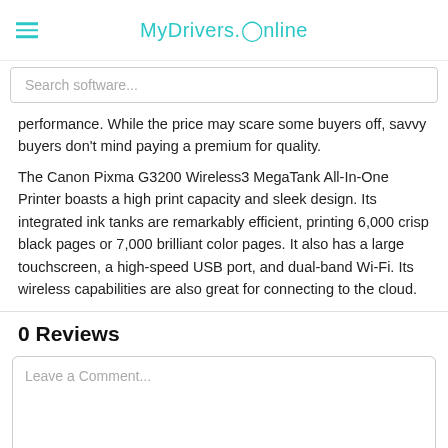MyDrivers.Online
Search software...
performance. While the price may scare some buyers off, savvy buyers don't mind paying a premium for quality.
The Canon Pixma G3200 Wireless3 MegaTank All-In-One Printer boasts a high print capacity and sleek design. Its integrated ink tanks are remarkably efficient, printing 6,000 crisp black pages or 7,000 brilliant color pages. It also has a large touchscreen, a high-speed USB port, and dual-band Wi-Fi. Its wireless capabilities are also great for connecting to the cloud.
0 Reviews
Leave a Comment...